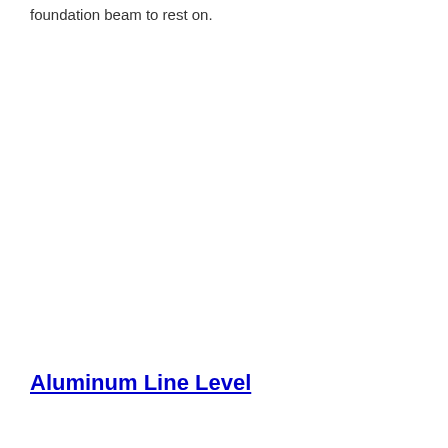foundation beam to rest on.
Aluminum Line Level